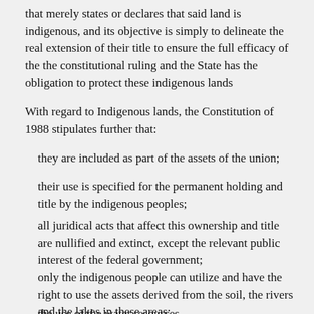that merely states or declares that said land is indigenous, and its objective is simply to delineate the real extension of their title to ensure the full efficacy of the the constitutional ruling and the State has the obligation to protect these indigenous lands
With regard to Indigenous lands, the Constitution of 1988 stipulates further that:
they are included as part of the assets of the union;
their use is specified for the permanent holding and title by the indigenous peoples;
all juridical acts that affect this ownership and title are nullified and extinct, except the relevant public interest of the federal government;
only the indigenous people can utilize and have the right to use the assets derived from the soil, the rivers and the lakes in these areas;
the use of the water resources, including...